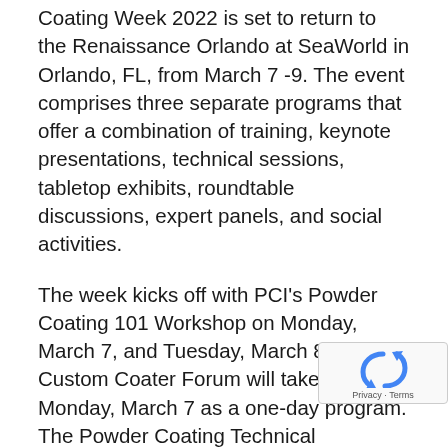Coating Week 2022 is set to return to the Renaissance Orlando at SeaWorld in Orlando, FL, from March 7 -9. The event comprises three separate programs that offer a combination of training, keynote presentations, technical sessions, tabletop exhibits, roundtable discussions, expert panels, and social activities.
The week kicks off with PCI's Powder Coating 101 Workshop on Monday, March 7, and Tuesday, March 8. The Custom Coater Forum will take place on Monday, March 7 as a one-day program. The Powder Coating Technical Conference begins with breakfast and an advanced general session on Tuesday, March 8, and continues with keynote speakers and breakout sessions through Wednesday, March 9.
The Tabletop Exhibition will be open Monday eve... and during Tuesday's lunch and evening reception to